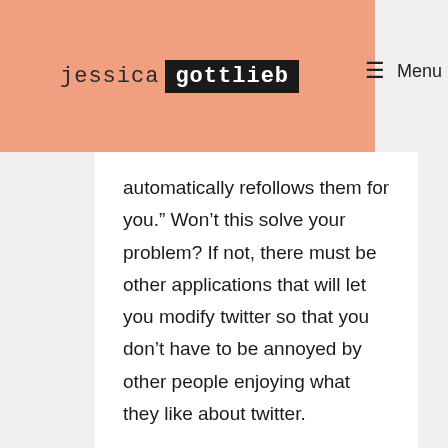jessica gottlieb
automatically refollows them for you.” Won’t this solve your problem? If not, there must be other applications that will let you modify twitter so that you don’t have to be annoyed by other people enjoying what they like about twitter.
Instead of asking other people to modify their behavior to suit your likes or dislikes, why don’t you try